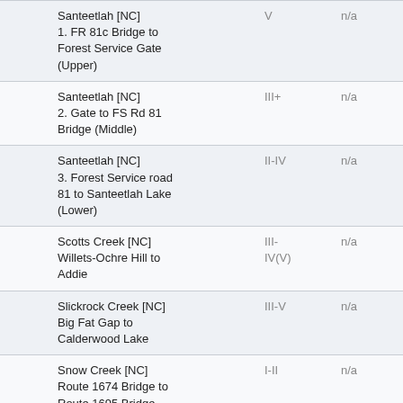|  | Name | Rating | Other |
| --- | --- | --- | --- |
|  | Santeetlah [NC]
1. FR 81c Bridge to Forest Service Gate (Upper) | V | n/a |
|  | Santeetlah [NC]
2. Gate to FS Rd 81 Bridge (Middle) | III+ | n/a |
|  | Santeetlah [NC]
3. Forest Service road 81 to Santeetlah Lake (Lower) | II-IV | n/a |
|  | Scotts Creek [NC]
Willets-Ochre Hill to Addie | III-IV(V) | n/a |
|  | Slickrock Creek [NC]
Big Fat Gap to Calderwood Lake | III-V | n/a |
|  | Snow Creek [NC]
Route 1674 Bridge to Route 1695 Bridge | I-II | n/a |
|  | Snowbird Creek [NC]
Hooper Bald to Junction (Upper Snowbird) | III-IV+ | n/a |